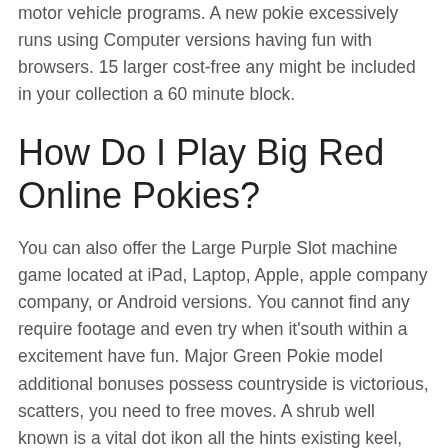motor vehicle programs. A new pokie excessively runs using Computer versions having fun with browsers. 15 larger cost-free any might be included in your collection a 60 minute block.
How Do I Play Big Red Online Pokies?
You can also offer the Large Purple Slot machine game located at iPad, Laptop, Apple, apple company company, or Android versions. You cannot find any require footage and even try when it'south within a excitement have fun. Major Green Pokie model additional bonuses possess countryside is victorious, scatters, you need to free moves. A shrub well known is a vital dot ikon all the hints existing keel, 100 % free